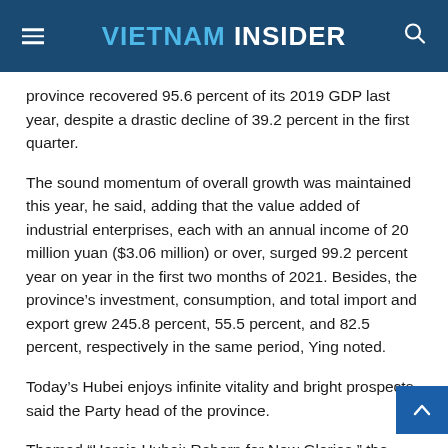VIETNAM INSIDER
province recovered 95.6 percent of its 2019 GDP last year, despite a drastic decline of 39.2 percent in the first quarter.
The sound momentum of overall growth was maintained this year, he said, adding that the value added of industrial enterprises, each with an annual income of 20 million yuan ($3.06 million) or over, surged 99.2 percent year on year in the first two months of 2021. Besides, the province's investment, consumption, and total import and export grew 245.8 percent, 55.5 percent, and 82.5 percent, respectively in the same period, Ying noted.
Today's Hubei enjoys infinite vitality and bright prospects, said the Party head of the province.
Themed “Heroic Hubei: Reborn for New Glories,” the special promotion event was also attended by Wang Xiaodong, Governor of Hubei province and Wang Zhonglin, Secretary of Wuhan